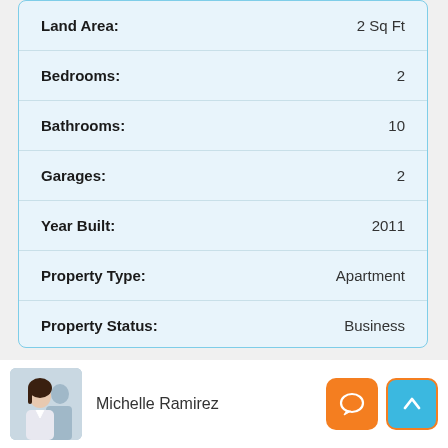| Property Detail | Value |
| --- | --- |
| Land Area: | 2 Sq Ft |
| Bedrooms: | 2 |
| Bathrooms: | 10 |
| Garages: | 2 |
| Year Built: | 2011 |
| Property Type: | Apartment |
| Property Status: | Business |
Michelle Ramirez